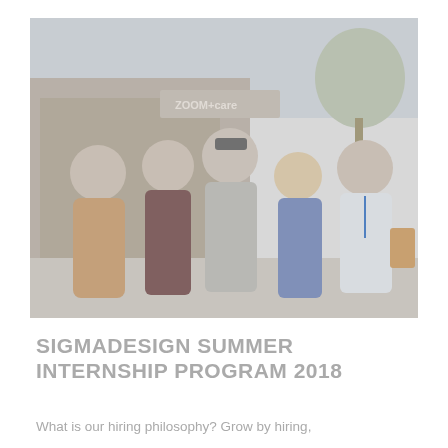[Figure (photo): Group photo of five people standing together outside in front of a ZOOM+care storefront with trees and outdoor seating visible. The group includes four women and one man wearing a baseball cap with a striped shirt in the center, and a man in a white shirt with a lanyard on the right.]
SIGMADESIGN SUMMER INTERNSHIP PROGRAM 2018
What is our hiring philosophy? Grow by hiring,